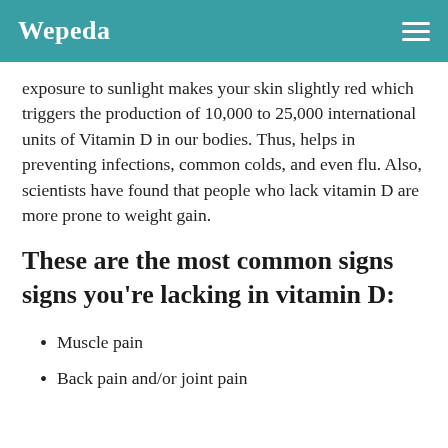Wepeda
exposure to sunlight makes your skin slightly red which triggers the production of 10,000 to 25,000 international units of Vitamin D in our bodies. Thus, helps in preventing infections, common colds, and even flu. Also, scientists have found that people who lack vitamin D are more prone to weight gain.
These are the most common signs signs you’re lacking in vitamin D:
Muscle pain
Back pain and/or joint pain